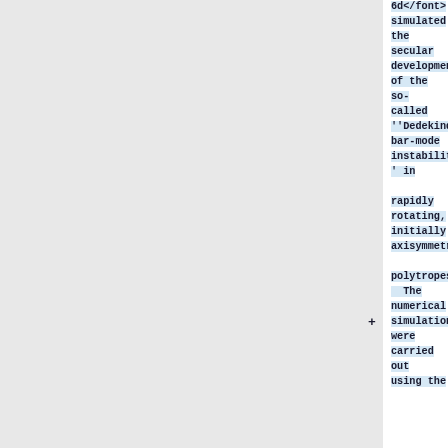6d simulated the secular development of the so-called ''Dedekind bar-mode instability'' in rapidly rotating, initially axisymmetric polytropes. The numerical simulations were carried out using the